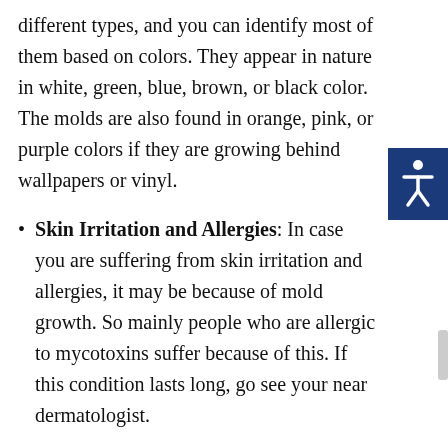different types, and you can identify most of them based on colors. They appear in nature in white, green, blue, brown, or black color. The molds are also found in orange, pink, or purple colors if they are growing behind wallpapers or vinyl.
Skin Irritation and Allergies: In case you are suffering from skin irritation and allergies, it may be because of mold growth. So mainly people who are allergic to mycotoxins suffer because of this. If this condition lasts long, go see your near dermatologist.
Hire Professionals For